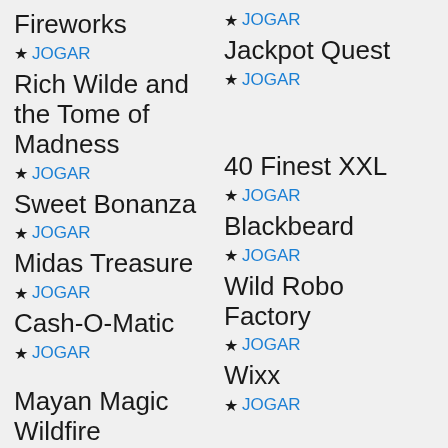Fireworks
★ JOGAR
Rich Wilde and the Tome of Madness
★ JOGAR
Sweet Bonanza
★ JOGAR
Midas Treasure
★ JOGAR
Cash-O-Matic
★ JOGAR
Mayan Magic Wildfire
★ JOGAR
Jackpot Quest
★ JOGAR
40 Finest XXL
★ JOGAR
Blackbeard
★ JOGAR
Wild Robo Factory
★ JOGAR
Wixx
★ JOGAR